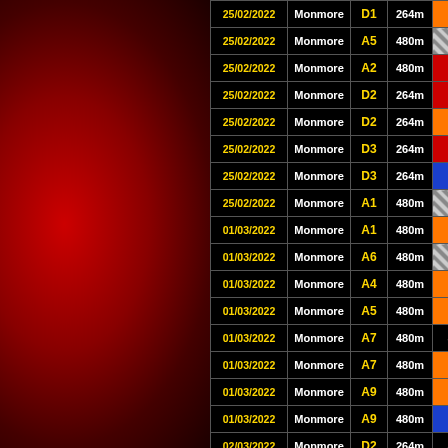| Date | Venue | Trap | Dist | Result |
| --- | --- | --- | --- | --- |
| 25/02/2022 | Monmore | D1 | 264m |  |
| 25/02/2022 | Monmore | A5 | 480m |  |
| 25/02/2022 | Monmore | A2 | 480m | 1 |
| 25/02/2022 | Monmore | D2 | 264m | 1 |
| 25/02/2022 | Monmore | D2 | 264m | 5 |
| 25/02/2022 | Monmore | D3 | 264m | 1 |
| 25/02/2022 | Monmore | D3 | 264m | 2 |
| 25/02/2022 | Monmore | A1 | 480m |  |
| 01/03/2022 | Monmore | A1 | 480m | 5 |
| 01/03/2022 | Monmore | A6 | 480m |  |
| 01/03/2022 | Monmore | A4 | 480m | 5 |
| 01/03/2022 | Monmore | A5 | 480m | 5 |
| 01/03/2022 | Monmore | A7 | 480m | 4 |
| 01/03/2022 | Monmore | A7 | 480m | 5 |
| 01/03/2022 | Monmore | A9 | 480m |  |
| 01/03/2022 | Monmore | A9 | 480m | 2 |
| 02/03/2022 | Monmore | D2 | 264m | 4 |